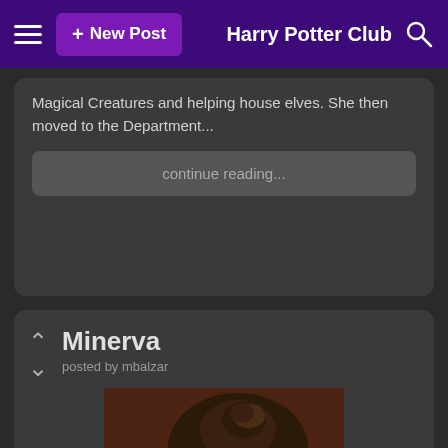+ New Post   Harry Potter Club
Magical Creatures and helping house elves. She then moved to the Department...
continue reading...
Minerva
posted by mbalzar
[Figure (photo): Portrait photo of Professor Minerva McGonagall (older woman with brown hair in a bun, wearing round glasses, dark clothing, serious expression, warm dark background)]